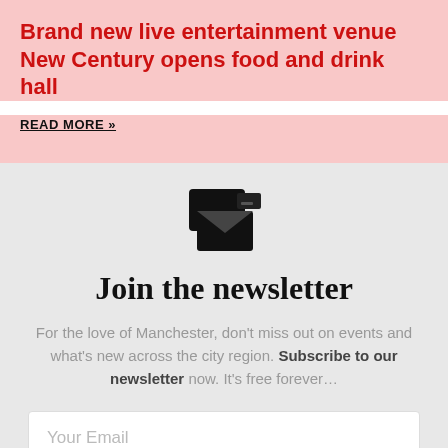Brand new live entertainment venue New Century opens food and drink hall
READ MORE »
[Figure (illustration): Icon showing overlapping envelope and credit card/document symbols in black]
Join the newsletter
For the love of Manchester, don't miss out on events and what's new across the city region. Subscribe to our newsletter now. It's free forever…
Your Email